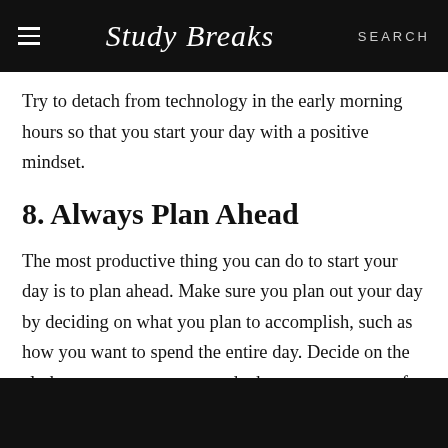Study Breaks   SEARCH
Try to detach from technology in the early morning hours so that you start your day with a positive mindset.
8. Always Plan Ahead
The most productive thing you can do to start your day is to plan ahead. Make sure you plan out your day by deciding on what you plan to accomplish, such as how you want to spend the entire day. Decide on the clothes you want to wear and what you want to eat for breakfast.